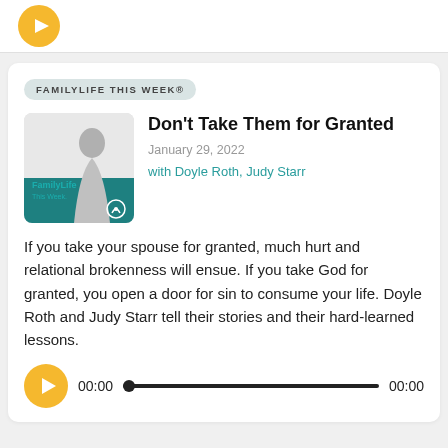[Figure (screenshot): Top bar with a yellow circular play button partially visible]
FAMILYLIFE THIS WEEK®
Don't Take Them for Granted
January 29, 2022
with Doyle Roth, Judy Starr
[Figure (photo): FamilyLife This Week podcast cover art showing a woman posing in black and white with teal FamilyLife branding]
If you take your spouse for granted, much hurt and relational brokenness will ensue. If you take God for granted, you open a door for sin to consume your life. Doyle Roth and Judy Starr tell their stories and their hard-learned lessons.
[Figure (other): Audio player with yellow play button, 00:00 start time, progress bar, and 00:00 end time]